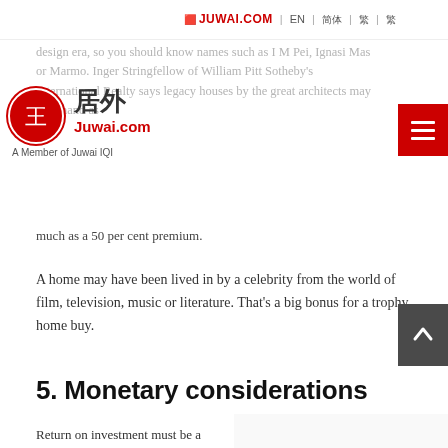JUWAI.COM | EN | 简体 | 繁 | 繁
[Figure (logo): Juwai.com logo with red circle and Chinese characters, 'A Member of Juwai IQI' tagline]
Perhaps it is an architect-designed home. We live in the design era, so you should know names such as I M Pei, Ignasi Mas or Marmo. Inger Stringfellow of William Pitt Sotheby's International Realty says legacy houses by the great architects may command as much as a 50 per cent premium.
A home may have been lived in by a celebrity from the world of film, television, music or literature. That's a big bonus for a trophy home buy.
5. Monetary considerations
Return on investment must be a consideration. In a normal situation you know the relative market value of the property judging by recent sales. You won't have that guideline now as multi-million dollar properties don't change owners as often. You shift your focus to
[Figure (illustration): Gold balance scale with a house on one side and a dollar sign on the other side, representing monetary considerations in real estate]